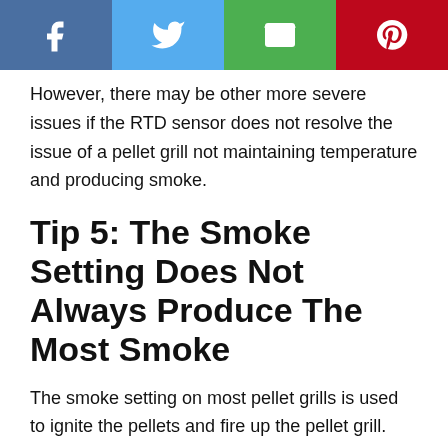[Figure (other): Social sharing bar with Facebook, Twitter, Email, and Pinterest buttons]
However, there may be other more severe issues if the RTD sensor does not resolve the issue of a pellet grill not maintaining temperature and producing smoke.
Tip 5: The Smoke Setting Does Not Always Produce The Most Smoke
The smoke setting on most pellet grills is used to ignite the pellets and fire up the pellet grill. For example, the smoke setting on a Traeger is used in the ignition sequence to fire up the grill.